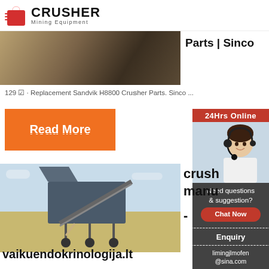[Figure (logo): Crusher Mining Equipment logo with red shopping bag icon and bold CRUSHER text]
[Figure (photo): Top image showing mining/industrial equipment on a pallet, partially visible]
Parts | Sinco
129 ☑ · Replacement Sandvik H8800 Crusher Parts. Sinco ...
[Figure (other): Orange Read More button]
[Figure (photo): 24Hrs Online sidebar with woman wearing headset, chat widget with Need questions & suggestion?, Chat Now button, Enquiry section, limingjlmofen@sina.com]
[Figure (photo): Photo of mobile crushing plant / industrial machinery at a worksite]
crush
manu
-
vaikuendokrinologija.lt